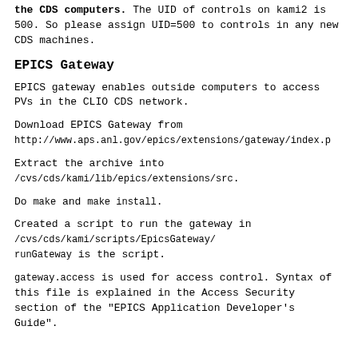the CDS computers. The UID of controls on kami2 is 500. So please assign UID=500 to controls in any new CDS machines.
EPICS Gateway
EPICS gateway enables outside computers to access PVs in the CLIO CDS network.
Download EPICS Gateway from http://www.aps.anl.gov/epics/extensions/gateway/index.p
Extract the archive into /cvs/cds/kami/lib/epics/extensions/src.
Do make and make install.
Created a script to run the gateway in /cvs/cds/kami/scripts/EpicsGateway/ runGateway is the script.
gateway.access is used for access control. Syntax of this file is explained in the Access Security section of the "EPICS Application Developer's Guide".